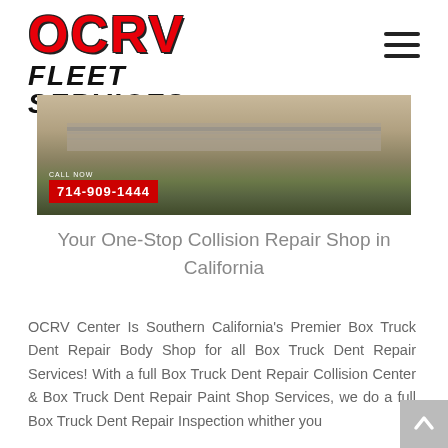OCRV FLEET SERVICES
[Figure (photo): Aerial/drone view of a road or highway with surrounding landscape and vegetation. A red badge in the lower left reads CALL NOW 714-909-1444.]
Your One-Stop Collision Repair Shop in California
OCRV Center Is Southern California's Premier Box Truck Dent Repair Body Shop for all Box Truck Dent Repair Services! With a full Box Truck Dent Repair Collision Center & Box Truck Dent Repair Paint Shop Services, we do a full Box Truck Dent Repair Inspection whither you